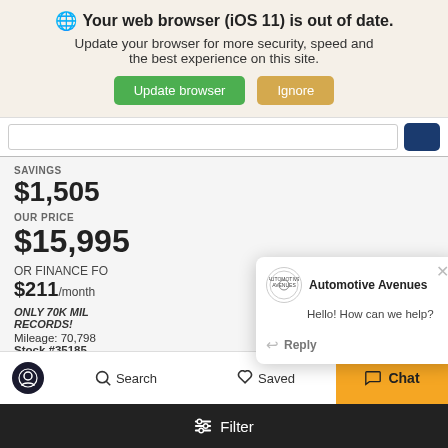Your web browser (iOS 11) is out of date. Update your browser for more security, speed and the best experience on this site. Update browser | Ignore
SAVINGS
$1,505
OUR PRICE
$15,995
OR FINANCE FO
$211/month
ONLY 70K MIL
RECORDS!
Mileage: 70,798
Stock #35185
[Figure (screenshot): Automotive Avenues chat popup with logo, greeting 'Hello! How can we help?' and Reply button]
Accessibility  Search  Saved  Chat  Filter